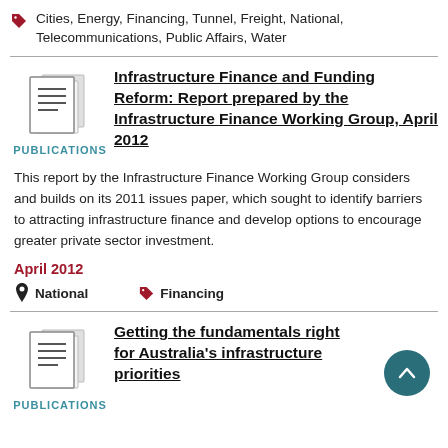Cities, Energy, Financing, Tunnel, Freight, National, Telecommunications, Public Affairs, Water
[Figure (illustration): Document/pages icon representing a publication]
PUBLICATIONS
Infrastructure Finance and Funding Reform: Report prepared by the Infrastructure Finance Working Group, April 2012
This report by the Infrastructure Finance Working Group considers and builds on its 2011 issues paper, which sought to identify barriers to attracting infrastructure finance and develop options to encourage greater private sector investment.
April 2012
National
Financing
[Figure (illustration): Document/pages icon representing a publication]
PUBLICATIONS
Getting the fundamentals right for Australia's infrastructure priorities